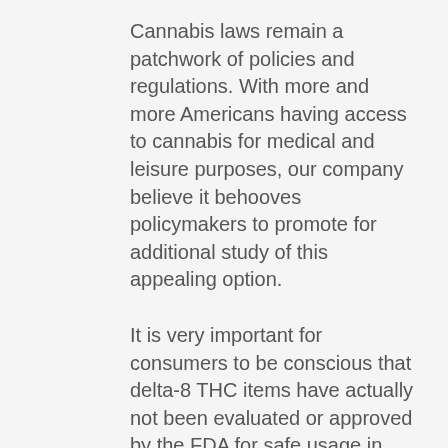Cannabis laws remain a patchwork of policies and regulations. With more and more Americans having access to cannabis for medical and leisure purposes, our company believe it behooves policymakers to promote for additional study of this appealing option.
It is very important for consumers to be conscious that delta-8 THC items have actually not been evaluated or approved by the FDA for safe usage in any context – CAKE BANANA RUNTZ DELTA 8. They might be marketed in manner ins which put the general public health at threat and ought to specifically be kept out